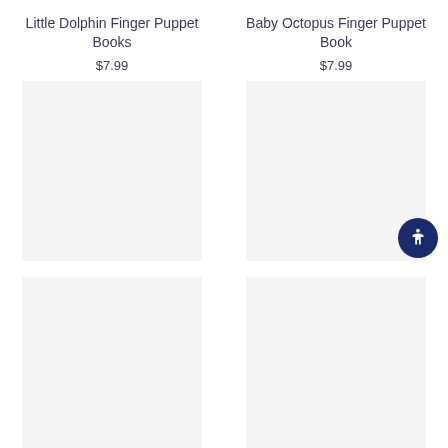Little Dolphin Finger Puppet Books
$7.99
Baby Octopus Finger Puppet Book
$7.99
Little Shark Finger Puppet Book
$7.99
Jellycat Fluffy Tails Book
$19.00